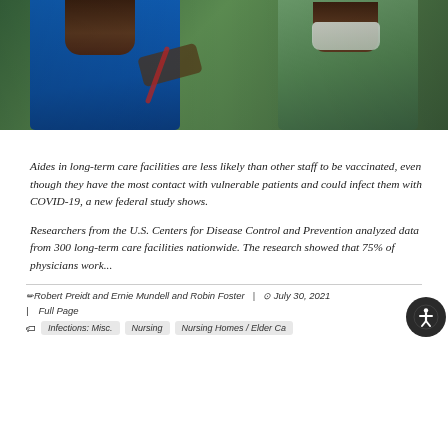[Figure (photo): A healthcare worker in a green scrubs and white face mask using a stethoscope on a patient wearing a blue shirt, outdoors with green foliage in the background.]
Aides in long-term care facilities are less likely than other staff to be vaccinated, even though they have the most contact with vulnerable patients and could infect them with COVID-19, a new federal study shows.
Researchers from the U.S. Centers for Disease Control and Prevention analyzed data from 300 long-term care facilities nationwide. The research showed that 75% of physicians work...
Robert Preidt and Ernie Mundell and Robin Foster | July 30, 2021 | Full Page  Infections: Misc.  Nursing  Nursing Homes / Elder Ca...